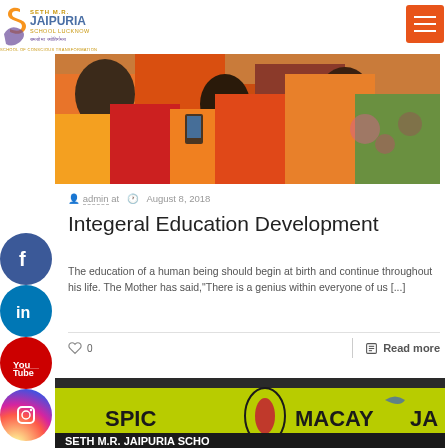[Figure (logo): Seth M.R. Jaipuria School Lucknow logo with tagline 'School of Conscious Transformation']
[Figure (photo): Women in colorful traditional Indian attire at an educational event]
admin at  August 8, 2018
Integeral Education Development
The education of a human being should begin at birth and continue throughout his life. The Mother has said,"There is a genius within everyone of us [...]
0  Read more
[Figure (photo): Banner showing SPIC MACAY event at Seth M.R. Jaipuria School]